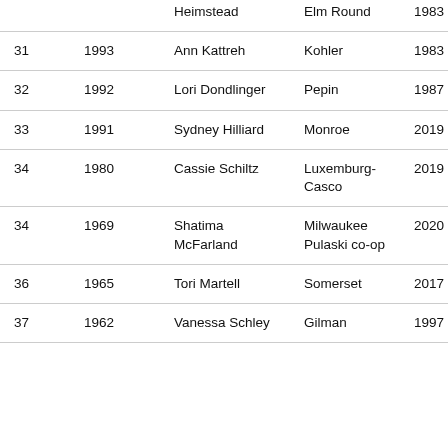| # | Year | Name | District | Year Elected |
| --- | --- | --- | --- | --- |
|  |  | Heimstead | Elm Round | 1983 |
| 31 | 1993 | Ann Kattreh | Kohler | 1983 |
| 32 | 1992 | Lori Dondlinger | Pepin | 1987 |
| 33 | 1991 | Sydney Hilliard | Monroe | 2019 |
| 34 | 1980 | Cassie Schiltz | Luxemburg-Casco | 2019 |
| 34 | 1969 | Shatima McFarland | Milwaukee Pulaski co-op | 2020 |
| 36 | 1965 | Tori Martell | Somerset | 2017 |
| 37 | 1962 | Vanessa Schley | Gilman | 1997 |